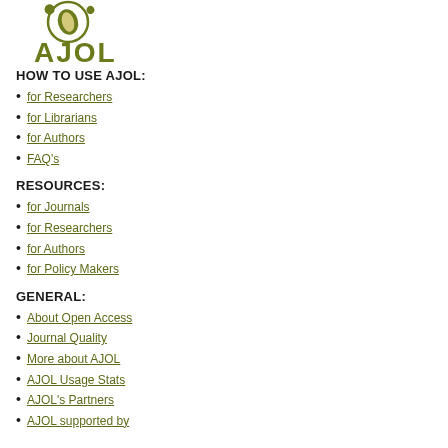[Figure (logo): AJOL logo with circular emblem and text 'AJOL' in olive/dark yellow color]
HOW TO USE AJOL:
for Researchers
for Librarians
for Authors
FAQ's
RESOURCES:
for Journals
for Researchers
for Authors
for Policy Makers
GENERAL:
About Open Access
Journal Quality
More about AJOL
AJOL Usage Stats
AJOL's Partners
AJOL supported by